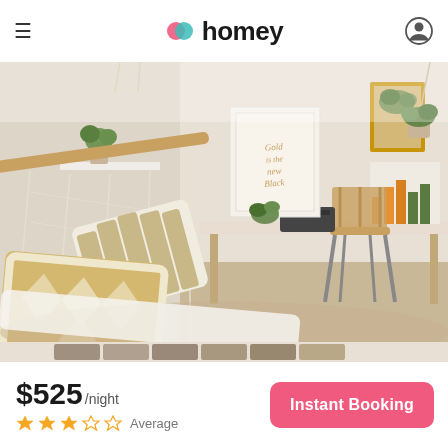homey
[Figure (photo): Bohemian-style room interior with a macrame hammock chair with decorative pillows in gold and white diamond patterns, a white desk with a typewriter and framed art, wooden chair, hanging plants, and a motivational poster on the wall.]
$525/night
★★★☆☆ Average
Instant Booking